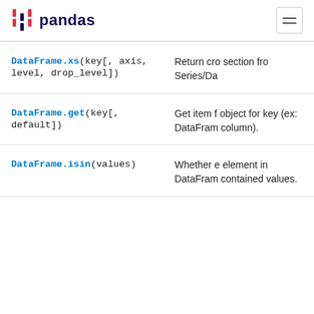pandas
| Method | Description |
| --- | --- |
| DataFrame.xs(key[, axis, level, drop_level]) | Return cro section fro Series/Da |
| DataFrame.get(key[, default]) | Get item f object for key (ex: DataFram column). |
| DataFrame.isin(values) | Whether e element in DataFram contained values. |